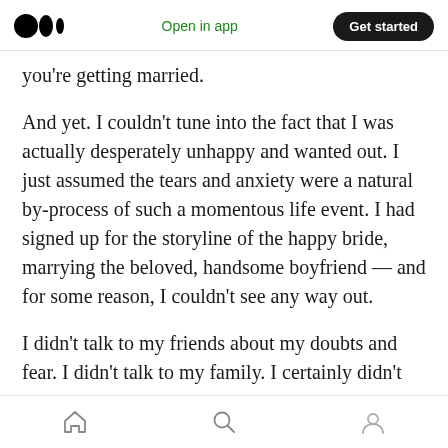Medium logo | Open in app | Get started
you're getting married.
And yet. I couldn't tune into the fact that I was actually desperately unhappy and wanted out. I just assumed the tears and anxiety were a natural by-process of such a momentous life event. I had signed up for the storyline of the happy bride, marrying the beloved, handsome boyfriend — and for some reason, I couldn't see any way out.
I didn't talk to my friends about my doubts and fear. I didn't talk to my family. I certainly didn't
Home | Search | Profile navigation icons